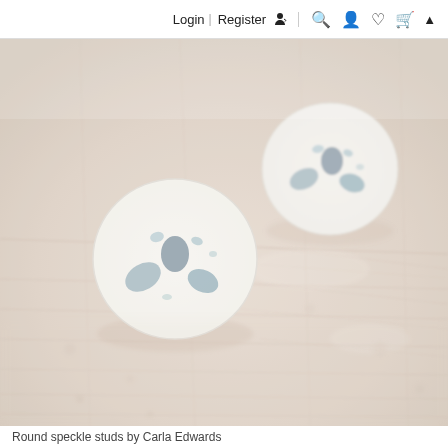Login | Register 🔍 👤 ♥ 🛒 ▲
[Figure (photo): Two white round ceramic stud earrings with blue speckle pattern resting on a wooden surface, photographed with shallow depth of field giving a soft blurred background. The earrings have a botanical ink-blot style design in muted slate blue and mint tones.]
Round speckle studs by Carla Edwards